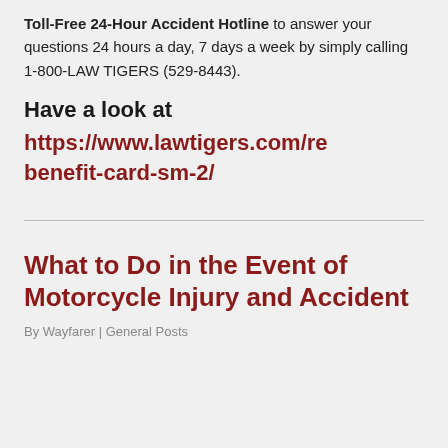Toll-Free 24-Hour Accident Hotline to answer your questions 24 hours a day, 7 days a week by simply calling 1-800-LAW TIGERS (529-8443).
Have a look at
https://www.lawtigers.com/rebenefit-card-sm-2/
What to Do in the Event of Motorcycle Injury and Accident
By Wayfarer | General Posts